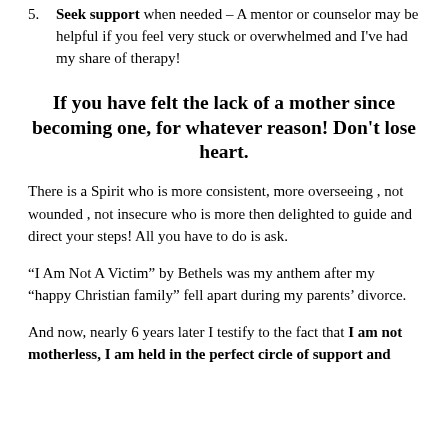5. Seek support when needed – A mentor or counselor may be helpful if you feel very stuck or overwhelmed and I've had my share of therapy!
If you have felt the lack of a mother since becoming one, for whatever reason! Don't lose heart.
There is a Spirit who is more consistent, more overseeing , not wounded , not insecure who is more then delighted to guide and direct your steps! All you have to do is ask.
“I Am Not A Victim” by Bethels was my anthem after my “happy Christian family” fell apart during my parents’ divorce.
And now, nearly 6 years later I testify to the fact that I am not motherless, I am held in the perfect circle of support and